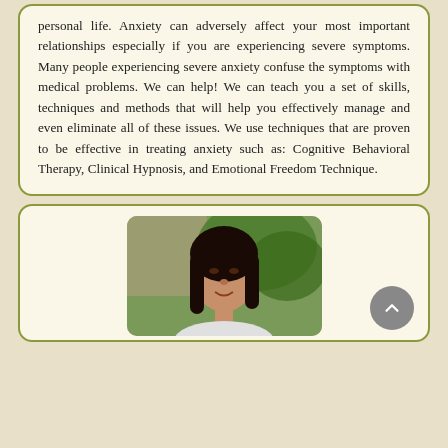personal life. Anxiety can adversely affect your most important relationships especially if you are experiencing severe symptoms. Many people experiencing severe anxiety confuse the symptoms with medical problems. We can help! We can teach you a set of skills, techniques and methods that will help you effectively manage and even eliminate all of these issues. We use techniques that are proven to be effective in treating anxiety such as: Cognitive Behavioral Therapy, Clinical Hypnosis, and Emotional Freedom Technique.
[Figure (photo): Portrait photo of a woman with dark hair, outdoors with green foliage in the background]